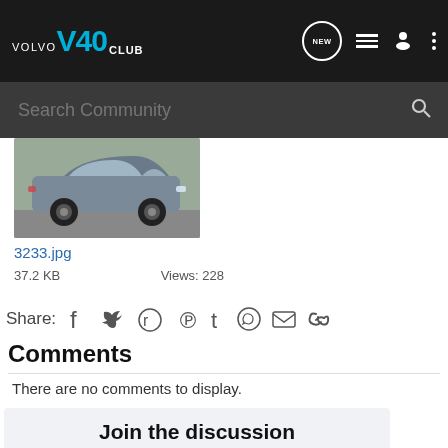VOLVO V40 CLUB — navigation bar with NEW, list, user, and menu icons, plus Search Community bar
[Figure (photo): Photo of a silver/grey Volvo V40 hatchback car viewed from the side, on a road with greenery in background]
3233.jpg
37.2 KB    Views: 228
Share:  (Facebook, Twitter, Reddit, Pinterest, Tumblr, WhatsApp, Email, Link icons)
Comments
There are no comments to display.
Join the discussion